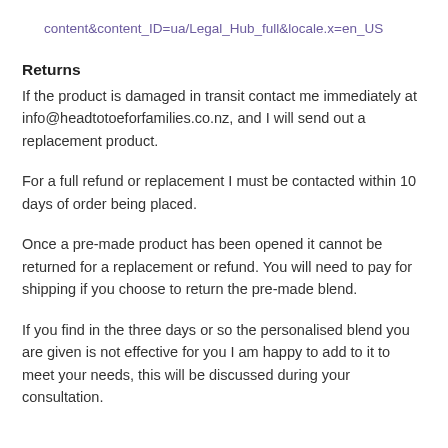content&content_ID=ua/Legal_Hub_full&locale.x=en_US
Returns
If the product is damaged in transit contact me immediately at info@headtotoeforfamilies.co.nz, and I will send out a replacement product.
For a full refund or replacement I must be contacted within 10 days of order being placed.
Once a pre-made product has been opened it cannot be returned for a replacement or refund. You will need to pay for shipping if you choose to return the pre-made blend.
If you find in the three days or so the personalised blend you are given is not effective for you I am happy to add to it to meet your needs, this will be discussed during your consultation.